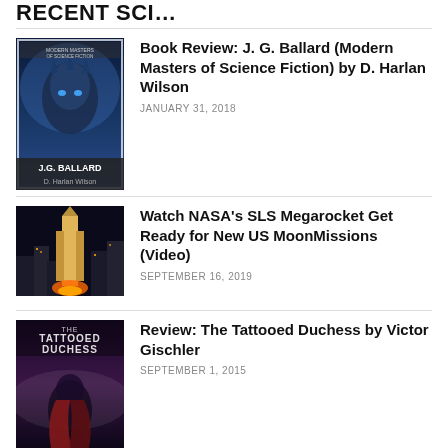RECENT SCI...
Book Review: J. G. Ballard (Modern Masters of Science Fiction) by D. Harlan Wilson
JANUARY 31, 2018
Watch NASA's SLS Megarocket Get Ready for New US MoonMissions (Video)
SEPTEMBER 16, 2019
Review: The Tattooed Duchess by Victor Gischler
SEPTEMBER 1, 2015